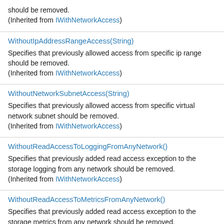should be removed.
(Inherited from IWithNetworkAccess)
WithoutIpAddressRangeAccess(String)
Specifies that previously allowed access from specific ip range should be removed.
(Inherited from IWithNetworkAccess)
WithoutNetworkSubnetAccess(String)
Specifies that previously allowed access from specific virtual network subnet should be removed.
(Inherited from IWithNetworkAccess)
WithoutReadAccessToLoggingFromAnyNetwork()
Specifies that previously added read access exception to the storage logging from any network should be removed.
(Inherited from IWithNetworkAccess)
WithoutReadAccessToMetricsFromAnyNetwork()
Specifies that previously added read access exception to the storage metrics from any network should be removed.